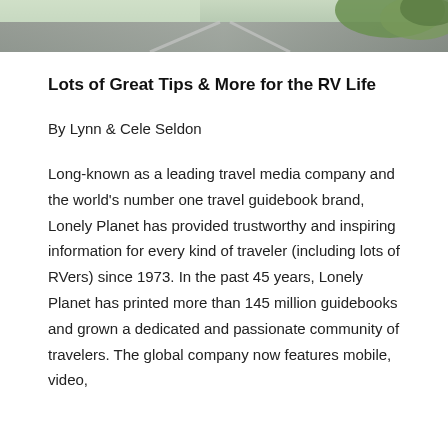[Figure (photo): Partial photograph at the top of the page showing a road or outdoor travel scene with greenery, cropped to a horizontal strip]
Lots of Great Tips & More for the RV Life
By Lynn & Cele Seldon
Long-known as a leading travel media company and the world's number one travel guidebook brand, Lonely Planet has provided trustworthy and inspiring information for every kind of traveler (including lots of RVers) since 1973. In the past 45 years, Lonely Planet has printed more than 145 million guidebooks and grown a dedicated and passionate community of travelers. The global company now features mobile, video,